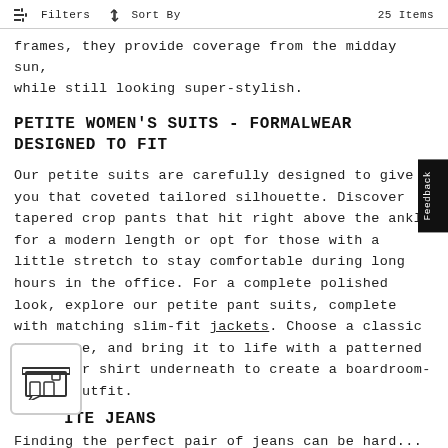Filters   ↑↓ Sort By   25 Items
frames, they provide coverage from the midday sun, while still looking super-stylish.
PETITE WOMEN'S SUITS - FORMALWEAR DESIGNED TO FIT
Our petite suits are carefully designed to give you that coveted tailored silhouette. Discover tapered crop pants that hit right above the ankle for a modern length or opt for those with a little stretch to stay comfortable during long hours in the office. For a complete polished look, explore our petite pant suits, complete with matching slim-fit jackets. Choose a classic black hue, and bring it to life with a patterned blouse or shirt underneath to create a boardroom-worthy outfit.
PETITE JEANS
Finding the perfect pair of jeans can be hard...